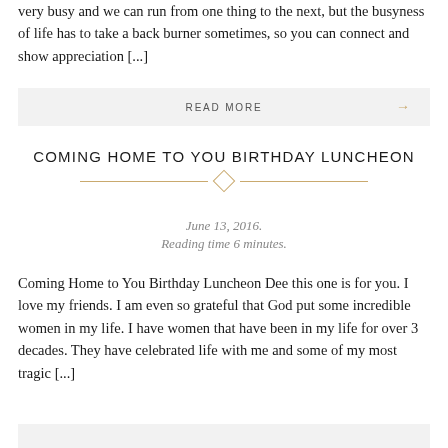very busy and we can run from one thing to the next, but the busyness of life has to take a back burner sometimes, so you can connect and show appreciation [...]
READ MORE →
COMING HOME TO YOU BIRTHDAY LUNCHEON
June 13, 2016. Reading time 6 minutes.
Coming Home to You Birthday Luncheon Dee this one is for you. I love my friends. I am even so grateful that God put some incredible women in my life. I have women that have been in my life for over 3 decades. They have celebrated life with me and some of my most tragic [...]